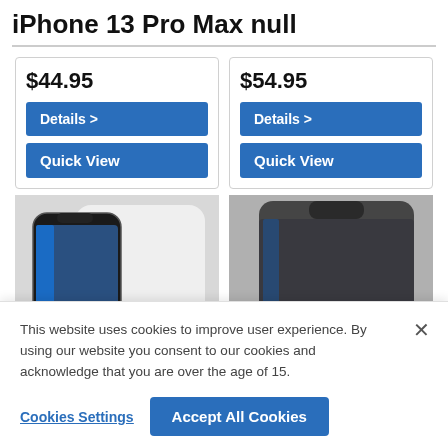iPhone 13 Pro Max null
$44.95
Details >
Quick View
$54.95
Details >
Quick View
[Figure (photo): iPhone screen protector product image - clear/white variant on left, dark privacy variant on right]
This website uses cookies to improve user experience. By using our website you consent to our cookies and acknowledge that you are over the age of 15.
Cookies Settings
Accept All Cookies